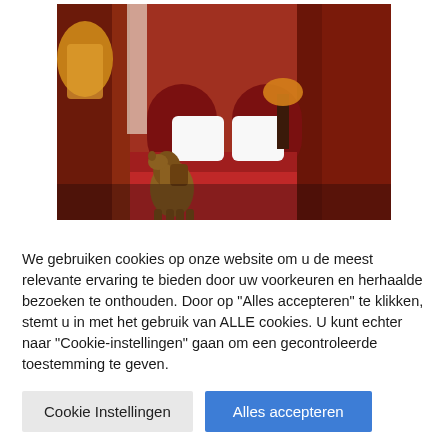[Figure (photo): Hotel room interior with red decor, red curtains, red upholstered headboard, white pillows on a red-covered bed, an orange table lamp, and a bronze camel figurine statue in the foreground left.]
We gebruiken cookies op onze website om u de meest relevante ervaring te bieden door uw voorkeuren en herhaalde bezoeken te onthouden. Door op "Alles accepteren" te klikken, stemt u in met het gebruik van ALLE cookies. U kunt echter naar "Cookie-instellingen" gaan om een gecontroleerde toestemming te geven.